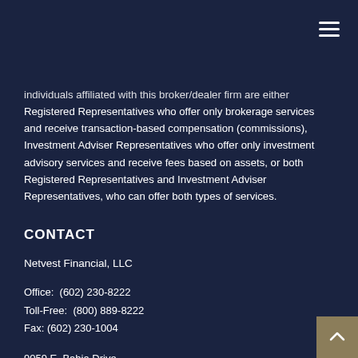individuals affiliated with this broker/dealer firm are either Registered Representatives who offer only brokerage services and receive transaction-based compensation (commissions), Investment Adviser Representatives who offer only investment advisory services and receive fees based on assets, or both Registered Representatives and Investment Adviser Representatives, who can offer both types of services.
CONTACT
Netvest Financial, LLC
Office:  (602) 230-8222
Toll-Free:  (800) 889-8222
Fax: (602) 230-1004
9059 E. Bahia Drive
Scottsdale, AZ 85260
info@netvest.ll